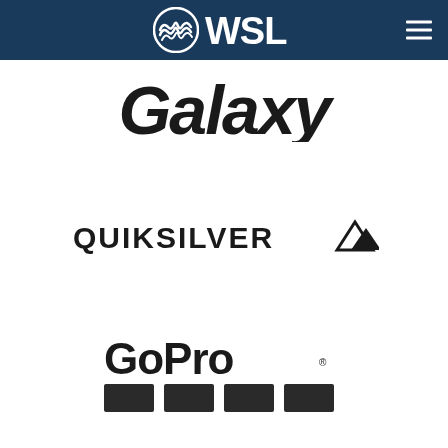[Figure (logo): WSL (World Surf League) logo in white on dark navy navigation bar with hamburger menu icon on the right]
[Figure (logo): Samsung Galaxy logo text in dark/black italic lettering, partially visible at top]
[Figure (logo): Quiksilver logo with bold sans-serif text QUIKSILVER and mountain wave icon]
[Figure (logo): GoPro logo with bold text and three dark square tiles beneath]